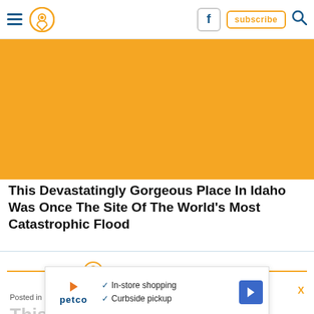Navigation bar with hamburger, location pin, Facebook button, subscribe button, search icon
[Figure (photo): Orange/amber colored hero image placeholder]
This Devastatingly Gorgeous Place In Idaho Was Once The Site Of The World's Most Catastrophic Flood
[Figure (logo): Only In Your State logo with orange location pin icon and horizontal orange lines on each side]
X
Posted in Idaho | Nature February 17, 2018 by Emerson
This Devastatingly Gorgeous Place In Idaho
[Figure (screenshot): Petco advertisement overlay showing In-store shopping and Curbside pickup with blue navigation icon]